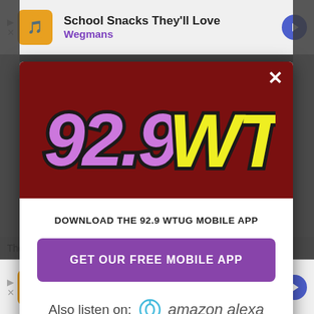[Figure (screenshot): Top advertisement banner for Wegmans 'School Snacks They'll Love' with orange logo icon, text, and blue arrow button]
[Figure (logo): 92.9 WTUG radio station logo. '92.9' in purple graffiti lettering and 'WTUG' in yellow graffiti lettering with black outline, on dark red background]
DOWNLOAD THE 92.9 WTUG MOBILE APP
GET OUR FREE MOBILE APP
Also listen on: amazon alexa
[Figure (screenshot): Bottom advertisement banner for Wegmans 'SnackTime Smiles from Wegmans' with orange logo icon, text, and blue arrow button]
The ne nday,